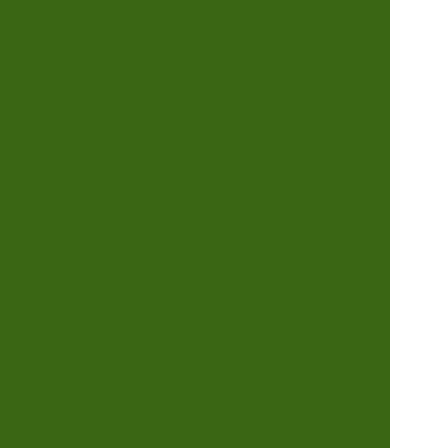[Figure (photo): Large dark green background panel occupying the left ~87% of the page]
Wow. It's been so l *ahem* Well, I nev to play a little catch move across the co silence? Many reas the move and we s friends, but most o be productive whe Etsy shop to look a time. And odd to th unit.

But that in itself pr pregnant. That's rig tougher road so fa and they've been h most of the day) si Most of all has bee cats. The wee babe basically my desire and I'll be able to g

Despite everything